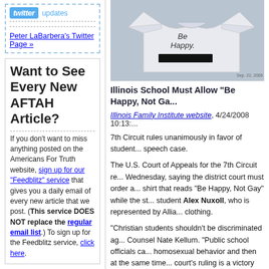[Figure (logo): Twitter logo button with 'updates' text in blue]
Peter LaBarbera's Twitter Page »
Want to See Every New AFTAH Article?
If you don't want to miss anything posted on the Americans For Truth website, sign up for our "Feedblitz" service that gives you a daily email of every new article that we post. (This service DOES NOT replace the regular email list.) To sign up for the Feedblitz service, click here.
[Figure (logo): Americans For Truth logo with globe and red text on dark background]
[Figure (photo): Photo of a white t-shirt with 'Be Happy' written on it and text blacked out below]
Illinois School Must Allow "Be Happy, Not Ga...
Illinois Family Institute website, 4/24/2008 10:13:...
7th Circuit rules unanimously in favor of student... speech case.
The U.S. Court of Appeals for the 7th Circuit re... Wednesday, saying the district court must order a... shirt that reads "Be Happy, Not Gay" while the st... student Alex Nuxoll, who is represented by Allia... clothing.
"Christian students shouldn't be discriminated ag... Counsel Nate Kellum. "Public school officials ca... homosexual behavior and then at the same time... court's ruling is a victory for all students seeking... campus."
Nuxoll, a student at Neuqua Valley High School,... throughout the year, including the next school da... school are permitted to wear shirts with messa...